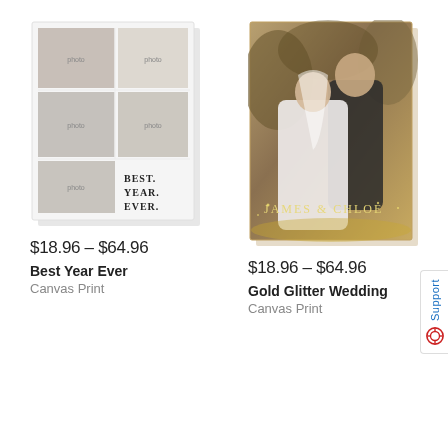[Figure (photo): Canvas print product: Best Year Ever - collage of family photos with text BEST. YEAR. EVER. on white canvas]
$18.96 – $64.96
Best Year Ever
Canvas Print
[Figure (photo): Canvas print product: Gold Glitter Wedding - wedding couple portrait with text JAMES & CHLOE on gold-toned canvas]
$18.96 – $64.96
Gold Glitter Wedding
Canvas Print